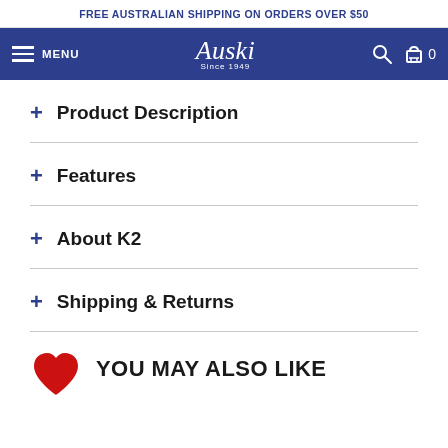FREE AUSTRALIAN SHIPPING ON ORDERS OVER $50
Auski Since 1949 — MENU — Search — Cart 0
+ Product Description
+ Features
+ About K2
+ Shipping & Returns
YOU MAY ALSO LIKE